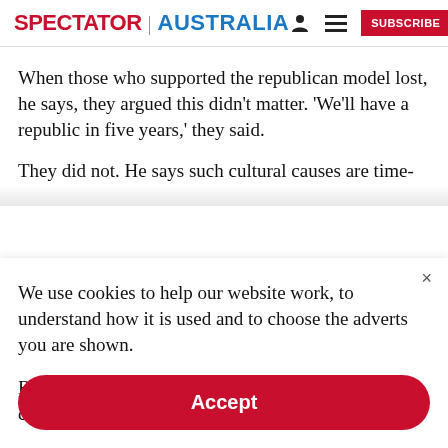SPECTATOR | AUSTRALIA
When those who supported the republican model lost, he says, they argued this didn’t matter. ‘We’ll have a republic in five years,’ they said.
They did not. He says such cultural causes are time-
We use cookies to help our website work, to understand how it is used and to choose the adverts you are shown.
By clicking "Accept" you agree to us doing so. You can read more in our privacy policy.
Accept